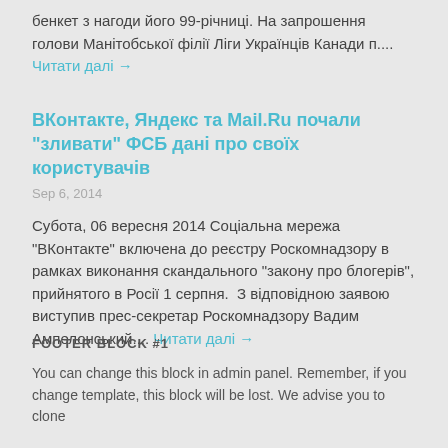бенкет з нагоди його 99-річниці. На запрошення голови Манітобської філії Ліги Українців Канади п.... Читати далі →
ВКонтакте, Яндекс та Mail.Ru почали "зливати" ФСБ дані про своїх користувачів
Sep 6, 2014
Субота, 06 вересня 2014 Соціальна мережа "ВКонтакте" включена до реєстру Роскомнадзору в рамках виконання скандального "закону про блогерів", прийнятого в Росії 1 серпня.  З відповідною заявою виступив прес-секретар Роскомнадзору Вадим Ампелонський.... Читати далі →
FOOTER BLOCK #1
You can change this block in admin panel. Remember, if you change template, this block will be lost. We advise you to clone